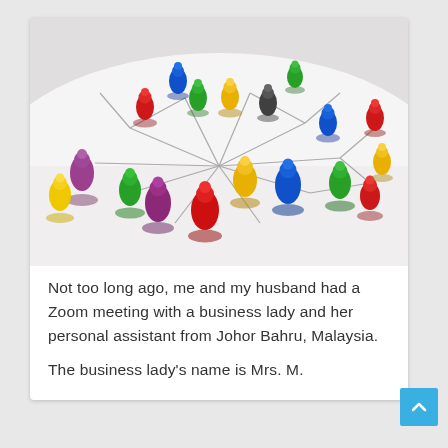[Figure (photo): Colorful board game pawns (red, green, blue, yellow, purple, black) arranged on a white surface with connecting lines forming a network pattern.]
Not too long ago, me and my husband had a Zoom meeting with a business lady and her personal assistant from Johor Bahru, Malaysia.
The business lady's name is Mrs. M.